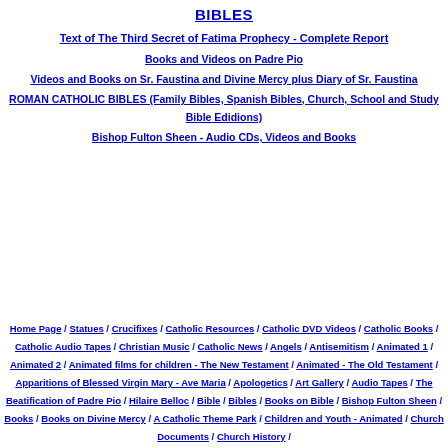BIBLES
Text of The Third Secret of Fatima Prophecy - Complete Report
Books and Videos on Padre Pio
Videos and Books on Sr. Faustina and Divine Mercy plus Diary of Sr. Faustina
ROMAN CATHOLIC BIBLES (Family Bibles, Spanish Bibles, Church, School and Study Bible Edidions)
Bishop Fulton Sheen - Audio CDs, Videos and Books
Home Page / Statues / Crucifixes / Catholic Resources / Catholic DVD Videos / Catholic Books / Catholic Audio Tapes / Christian Music / Catholic News / Angels / Antisemitism / Animated 1 / Animated 2 / Animated films for children - The New Testament / Animated - The Old Testament / Apparitions of Blessed Virgin Mary - Ave Maria / Apologetics / Art Gallery / Audio Tapes / The Beatification of Padre Pio / Hilaire Belloc / Bible / Bibles / Books on Bible / Bishop Fulton Sheen / Books / Books on Divine Mercy / A Catholic Theme Park / Children and Youth - Animated / Church Documents / Church History /